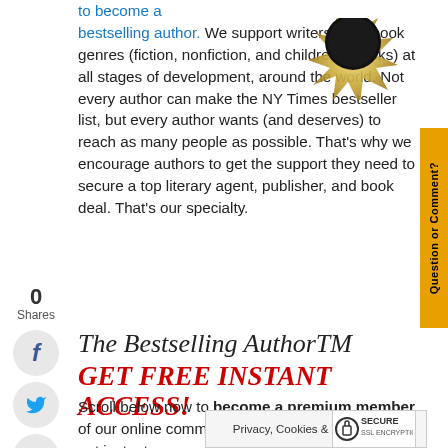to become a bestselling author. We support writers of all book genres (fiction, nonfiction, and children's books) at all stages of development, around the world. Not every author can make the NY Times bestseller list, but every author wants (and deserves) to reach as many people as possible. That's why we encourage authors to get the support they need to secure a top literary agent, publisher, and book deal. That's our specialty.
[Figure (illustration): Gold medal/seal badge partially visible in upper right corner]
0 Shares
[Figure (infographic): Social share icons: Facebook, Twitter, LinkedIn, Email in circular buttons on left sidebar]
[Figure (infographic): Yellow vertical tab on right side reading 'Question or Comment?']
The Bestselling AuthorTM
GET FREE INSTANT ACCESS!
Scroll below now to become a premium member of our online community absolutely FREE. You'll get instant access to our best premium content to help you become
Privacy, Cookies & Terms of Use
[Figure (logo): Secure SSL Encryption badge]